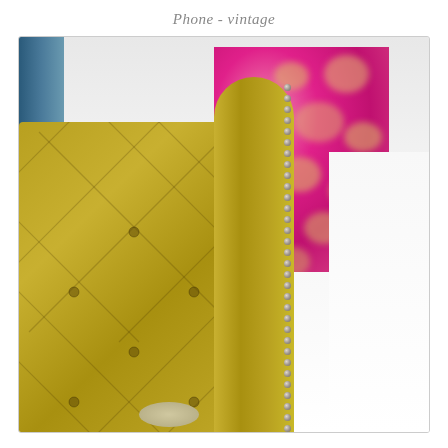Phone - vintage
[Figure (photo): Close-up photograph of a yellow-green tufted leather wingback chair or headboard with nail-head trim detail along the side. In the background is a white wall and a vibrant pink abstract artwork with gold/cream spots or blotches. A blue element (possibly a window or door frame) is visible on the far left edge.]